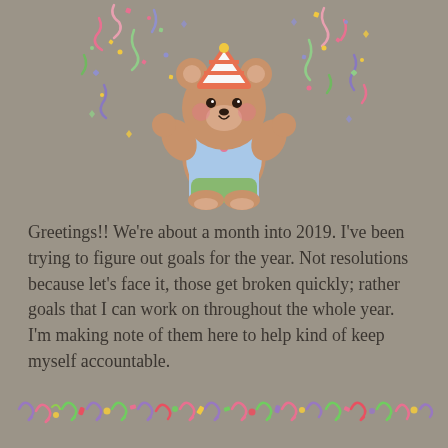[Figure (illustration): A cartoon teddy bear wearing a party hat, blue shirt, and green shorts, surrounded by colorful confetti and streamers, raising its arms in celebration.]
Greetings!! We're about a month into 2019. I've been trying to figure out goals for the year. Not resolutions because let's face it, those get broken quickly; rather goals that I can work on throughout the whole year.  I'm making note of them here to help kind of keep myself accountable.
[Figure (illustration): A decorative horizontal divider made of colorful curly ribbon and confetti shapes in pink, green, purple, and red.]